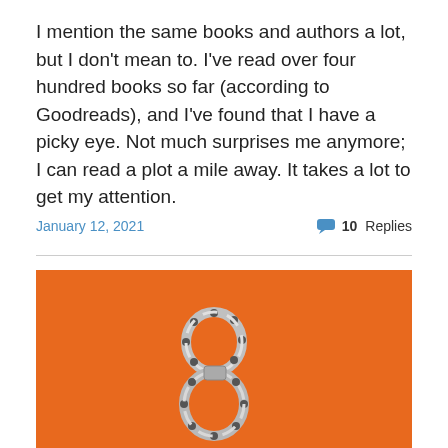I mention the same books and authors a lot, but I don't mean to. I've read over four hundred books so far (according to Goodreads), and I've found that I have a picky eye. Not much surprises me anymore; I can read a plot a mile away. It takes a lot to get my attention.
January 12, 2021   10 Replies
[Figure (photo): An orange background with a metal bicycle chain shaped into a figure-8 or infinity symbol, placed in the lower-left portion of the image.]